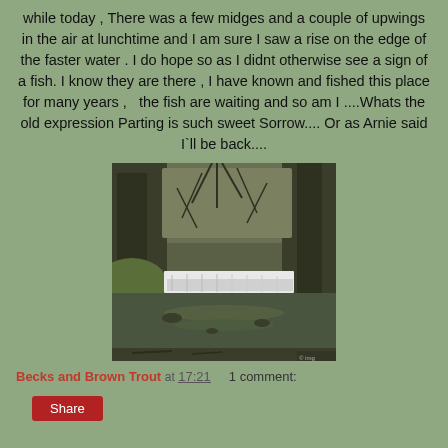while today ,  There was a few midges and a couple of upwings in the air at lunchtime and I am sure I saw a rise on the edge of the faster water .  I do hope so as I didnt otherwise see a sign of a fish.  I know they are there , I have known and fished this place for many years ,   the fish are waiting and so am I ....Whats the old expression Parting is such sweet Sorrow.... Or as Arnie said I`ll be back....
[Figure (photo): A river scene with a small weir/waterfall in the middle ground, flanked by trees with bare winter branches on both sides, and calm water in the foreground.]
Becks and Brown Trout at 17:21    1 comment:
Share